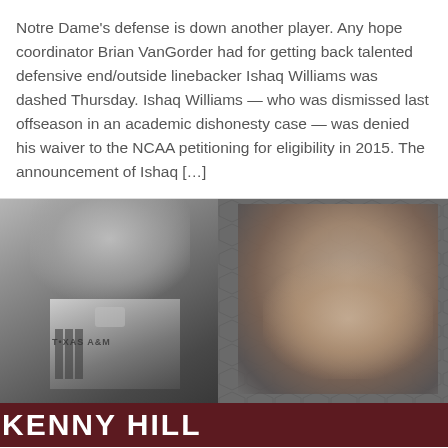Notre Dame's defense is down another player. Any hope coordinator Brian VanGorder had for getting back talented defensive end/outside linebacker Ishaq Williams was dashed Thursday. Ishaq Williams — who was dismissed last offseason in an academic dishonesty case — was denied his waiver to the NCAA petitioning for eligibility in 2015. The announcement of Ishaq […]
[Figure (photo): Black and white composite image showing a Texas A&M football player in uniform on the left, and a smiling young man (Kenny Hill) on the right against a honeycomb pattern background. A dark maroon banner at the bottom reads 'KENNY HILL' in large white bold letters.]